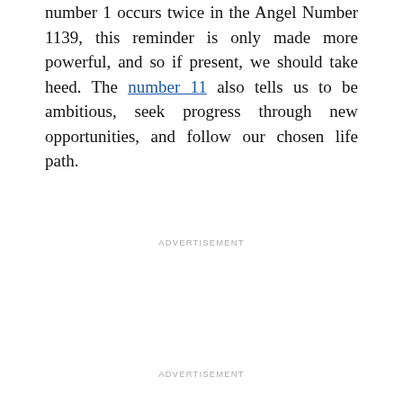number 1 occurs twice in the Angel Number 1139, this reminder is only made more powerful, and so if present, we should take heed. The number 11 also tells us to be ambitious, seek progress through new opportunities, and follow our chosen life path.
ADVERTISEMENT
ADVERTISEMENT